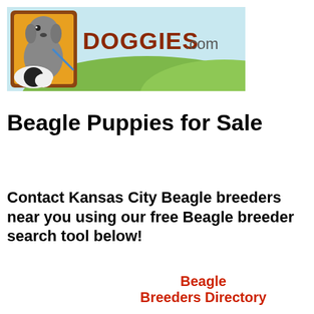[Figure (logo): Doggies.com banner logo with cartoon dog illustration on left and grass background, text reads DOGGIES.com]
Beagle Puppies for Sale
Contact Kansas City Beagle breeders near you using our free Beagle breeder search tool below!
Beagle Breeders Directory